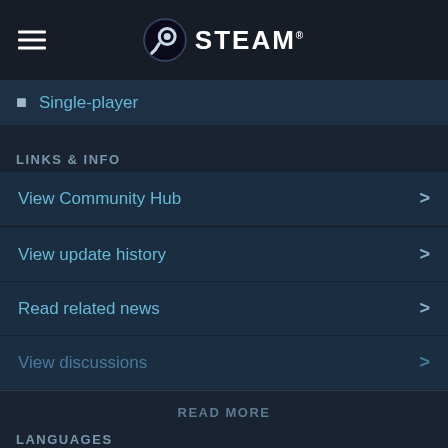[Figure (logo): Steam logo with hamburger menu icon on the left, Steam circular icon and STEAM text on the right]
Single-player
LINKS & INFO
View Community Hub
View update history
Read related news
View discussions
READ MORE
LANGUAGES
English